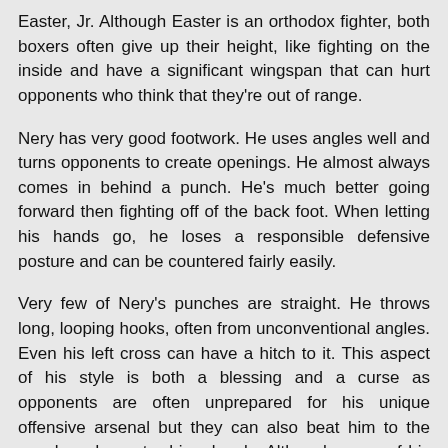Easter, Jr. Although Easter is an orthodox fighter, both boxers often give up their height, like fighting on the inside and have a significant wingspan that can hurt opponents who think that they're out of range.
Nery has very good footwork. He uses angles well and turns opponents to create openings. He almost always comes in behind a punch. He's much better going forward then fighting off of the back foot. When letting his hands go, he loses a responsible defensive posture and can be countered fairly easily.
Very few of Nery's punches are straight. He throws long, looping hooks, often from unconventional angles. Even his left cross can have a hitch to it. This aspect of his style is both a blessing and a curse as opponents are often unprepared for his unique offensive arsenal but they can also beat him to the punch and counter him cleanly. Although many of his punches from range aren't straight, he still has deceptively good hand speed (with one notable exception which I'll talk about below). His punches come much quicker once he starts to throw in combination.